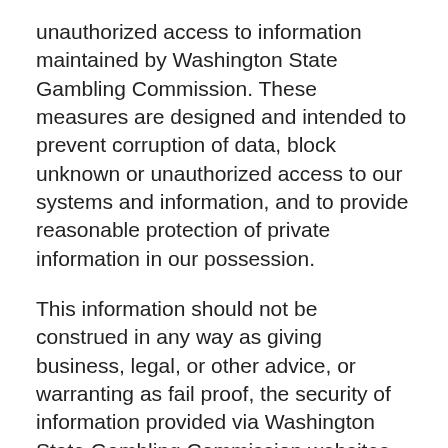unauthorized access to information maintained by Washington State Gambling Commission. These measures are designed and intended to prevent corruption of data, block unknown or unauthorized access to our systems and information, and to provide reasonable protection of private information in our possession.
This information should not be construed in any way as giving business, legal, or other advice, or warranting as fail proof, the security of information provided via Washington State Gambling Commission websites.
Disclaimer
The Washington State Gambling Commission web site has many links to other web sites. These include links to web sites operated by other government agencies, nonprofit organizations and private businesses. When you link to another site, you are no longer on the